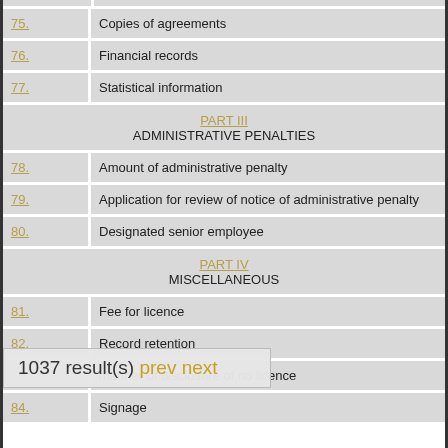75. Copies of agreements
76. Financial records
77. Statistical information
PART III
ADMINISTRATIVE PENALTIES
78. Amount of administrative penalty
79. Application for review of notice of administrative penalty
80. Designated senior employee
PART IV
MISCELLANEOUS
81. Fee for licence
82. Record retention
83. Manner of disclosure of no licence
1037 result(s) prev next
84. Signage